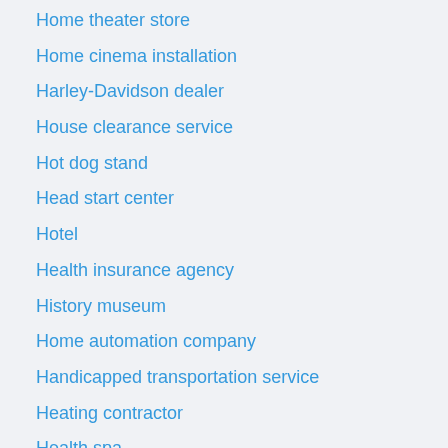Home theater store
Home cinema installation
Harley-Davidson dealer
House clearance service
Hot dog stand
Head start center
Hotel
Health insurance agency
History museum
Home automation company
Handicapped transportation service
Heating contractor
Health spa